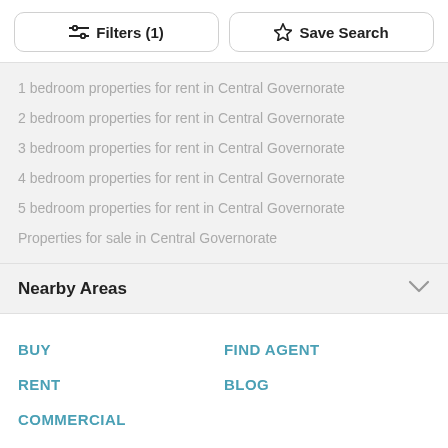Filters (1)
Save Search
1 bedroom properties for rent in Central Governorate
2 bedroom properties for rent in Central Governorate
3 bedroom properties for rent in Central Governorate
4 bedroom properties for rent in Central Governorate
5 bedroom properties for rent in Central Governorate
Properties for sale in Central Governorate
Nearby Areas
BUY
FIND AGENT
RENT
BLOG
COMMERCIAL
About Us
Terms & Conditions